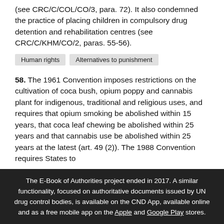(see CRC/C/COL/CO/3, para. 72). It also condemned the practice of placing children in compulsory drug detention and rehabilitation centres (see CRC/C/KHM/CO/2, paras. 55-56).
Human rights
Alternatives to punishment
58. The 1961 Convention imposes restrictions on the cultivation of coca bush, opium poppy and cannabis plant for indigenous, traditional and religious uses, and requires that opium smoking be abolished within 15 years, that coca leaf chewing be abolished within 25 years and that cannabis use be abolished within 25 years at the latest (art. 49 (2)). The 1988 Convention requires States to
The E-Book of Authorities project ended in 2017. A similar functionality, focused on authoritative documents issued by UN drug control bodies, is available on the CND App, available online and as a free mobile app on the Apple and Google Play stores.